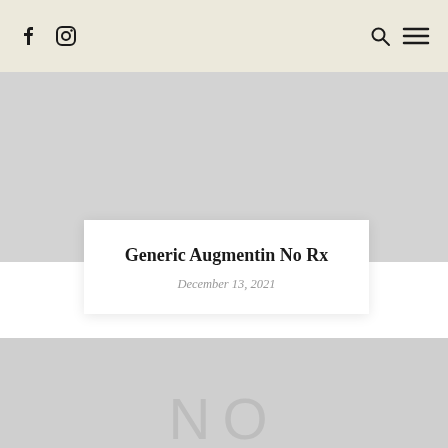Navigation bar with Facebook, Instagram icons (left); Search, Menu icons (right)
Generic Augmentin No Rx
December 13, 2021
[Figure (photo): Large light gray placeholder image area with 'NO' watermark text in large gray letters]